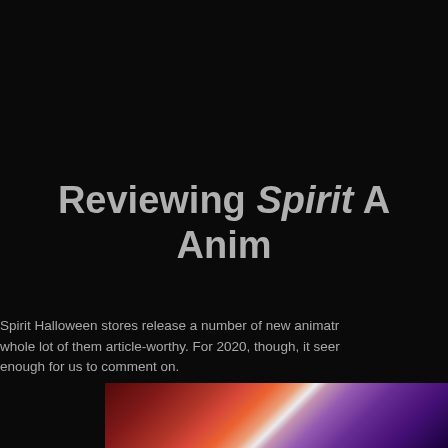Reviewing Spirit Anim
Spirit Halloween stores release a number of new animatr whole lot of them article-worthy. For 2020, though, it seer enough for us to comment on.
[Figure (photo): Partial photo strip at the bottom showing colorful Halloween animated display with red, orange, white and purple lighting effects, cropped at right edge]